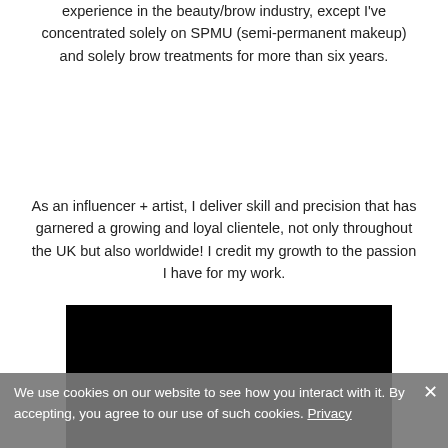experience in the beauty/brow industry, except I've concentrated solely on SPMU (semi-permanent makeup) and solely brow treatments for more than six years.
As an influencer + artist, I deliver skill and precision that has garnered a growing and loyal clientele, not only throughout the UK but also worldwide! I credit my growth to the passion I have for my work.
[Figure (photo): A black rectangular image/video placeholder]
We use cookies on our website to see how you interact with it. By accepting, you agree to our use of such cookies. Privacy